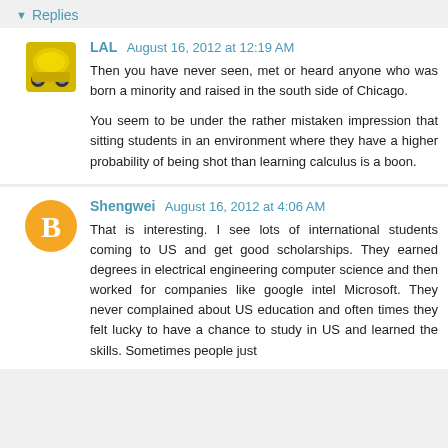Replies
LAL  August 16, 2012 at 12:19 AM

Then you have never seen, met or heard anyone who was born a minority and raised in the south side of Chicago.

You seem to be under the rather mistaken impression that sitting students in an environment where they have a higher probability of being shot than learning calculus is a boon.
Shengwei  August 16, 2012 at 4:06 AM

That is interesting. I see lots of international students coming to US and get good scholarships. They earned degrees in electrical engineering computer science and then worked for companies like google intel Microsoft. They never complained about US education and often times they felt lucky to have a chance to study in US and learned the skills. Sometimes people just